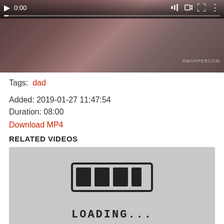[Figure (screenshot): Video player with dark background showing a paused video at 0:00 with playback controls]
Tags:  dad
Added: 2019-01-27 11:47:54
Duration: 08:00
Download MP4
RELATED VIDEOS
[Figure (screenshot): Loading placeholder image with a loading bar graphic and LOADING... text on grey background]